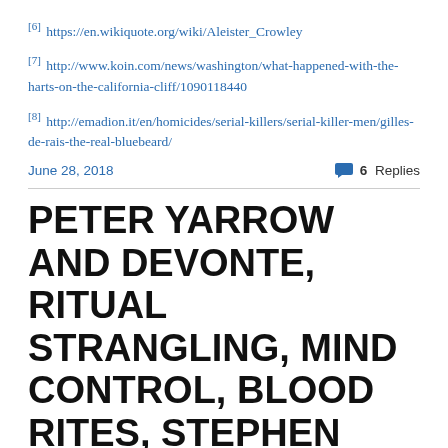[6] https://en.wikiquote.org/wiki/Aleister_Crowley
[7] http://www.koin.com/news/washington/what-happened-with-the-harts-on-the-california-cliff/1090118440
[8] http://emadion.it/en/homicides/serial-killers/serial-killer-men/gilles-de-rais-the-real-bluebeard/
June 28, 2018   6 Replies
PETER YARROW AND DEVONTE, RITUAL STRANGLING, MIND CONTROL, BLOOD RITES, STEPHEN MILLER & WAFFEN